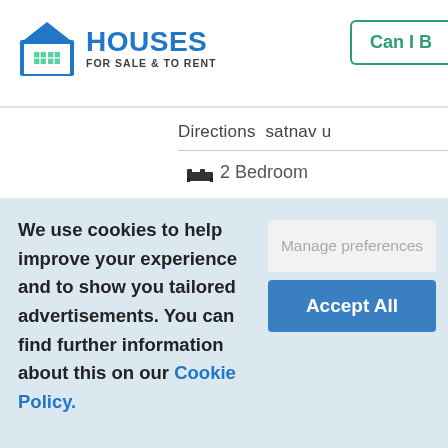[Figure (logo): Houses For Sale & To Rent logo with blue house icon and text]
Can I B
Directions  satnav u
2 Bedroom
We use cookies to help improve your experience and to show you tailored advertisements. You can find further information about this on our Cookie Policy.
Manage preferences
Accept All